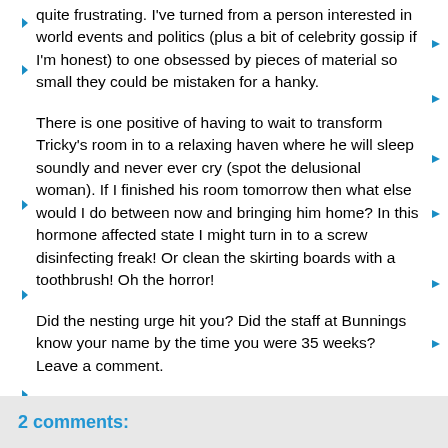quite frustrating. I've turned from a person interested in world events and politics (plus a bit of celebrity gossip if I'm honest) to one obsessed by pieces of material so small they could be mistaken for a hanky.
There is one positive of having to wait to transform Tricky's room in to a relaxing haven where he will sleep soundly and never ever cry (spot the delusional woman). If I finished his room tomorrow then what else would I do between now and bringing him home? In this hormone affected state I might turn in to a screw disinfecting freak! Or clean the skirting boards with a toothbrush! Oh the horror!
Did the nesting urge hit you? Did the staff at Bunnings know your name by the time you were 35 weeks? Leave a comment.
Share
2 comments: